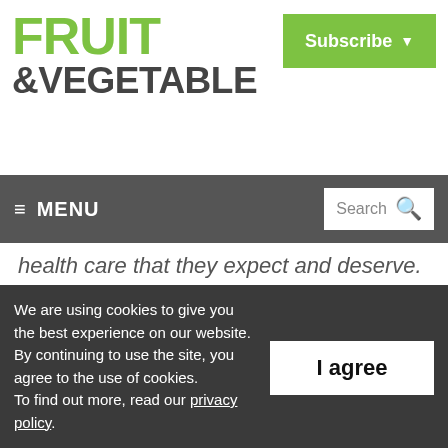FRUIT &VEGETABLE | Subscribe
≡ MENU | Search
health care that they expect and deserve.
Farmers have indicated in previous roundtables and conversations that they are more likely to open up about their mental health if they feel their counsellor or other mental health support understands the
We are using cookies to give you the best experience on our website. By continuing to use the site, you agree to the use of cookies. To find out more, read our privacy policy.